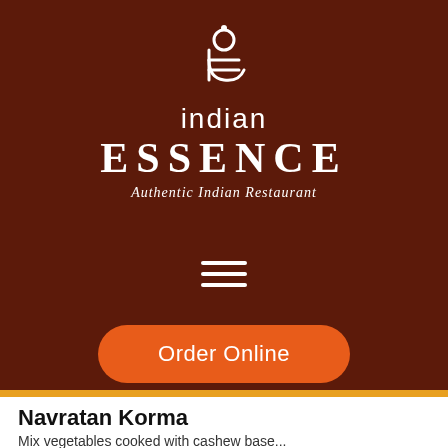[Figure (logo): Indian Essence restaurant logo — stylized 'ie' monogram in white on dark brown background]
indian
ESSENCE
Authentic Indian Restaurant
[Figure (other): Hamburger menu icon — three horizontal white lines]
[Figure (other): Orange 'Order Online' button]
Navratan Korma
Mix vegetables cooked with cashew base...